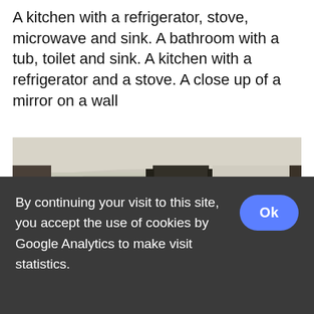A kitchen with a refrigerator, stove, microwave and sink. A bathroom with a tub, toilet and sink. A kitchen with a refrigerator and a stove. A close up of a mirror on a wall
[Figure (photo): A 360-degree panoramic view of a modern bedroom with a round white bed, large windows with blinds, a dark headboard wall with shelving, sports memorabilia on the wall, a desk with a monitor, and a white bean bag chair on a light wood floor.]
By continuing your visit to this site, you accept the use of cookies by Google Analytics to make visit statistics.